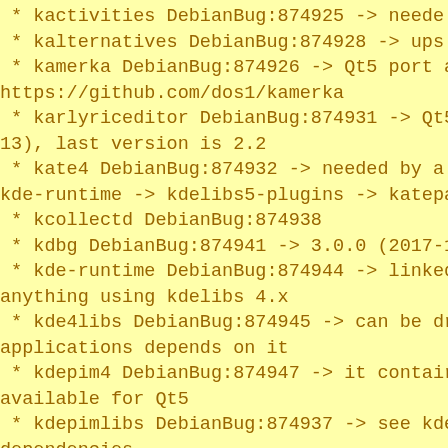* kactivities DebianBug:874925 -> needed
* kalternatives DebianBug:874928 -> upst
* kamerka DebianBug:874926 -> Qt5 port a
https://github.com/dos1/kamerka
* karlyriceditor DebianBug:874931 -> Qt5
13), last version is 2.2
* kate4 DebianBug:874932 -> needed by a
kde-runtime -> kdelibs5-plugins -> katepa
* kcollectd DebianBug:874938
* kdbg DebianBug:874941 -> 3.0.0 (2017-1
* kde-runtime DebianBug:874944 -> linked
anything using kdelibs 4.x
* kde4libs DebianBug:874945 -> can be dr
applications depends on it
* kdepim4 DebianBug:874947 -> it contair
available for Qt5
* kdepimlibs DebianBug:874937 -> see kde
dependencies
* keepassx DebianBug:874950 -> master us